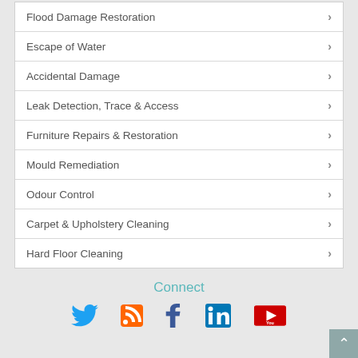Flood Damage Restoration
Escape of Water
Accidental Damage
Leak Detection, Trace & Access
Furniture Repairs & Restoration
Mould Remediation
Odour Control
Carpet & Upholstery Cleaning
Hard Floor Cleaning
Connect
[Figure (infographic): Social media icons: Twitter (blue bird), RSS (orange), Facebook (blue f), LinkedIn (blue in), YouTube (red/white)]